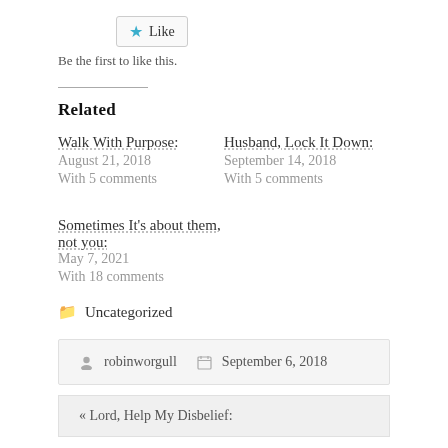Like
Be the first to like this.
Related
Walk With Purpose:
August 21, 2018
With 5 comments
Husband, Lock It Down:
September 14, 2018
With 5 comments
Sometimes It's about them, not you:
May 7, 2021
With 18 comments
Uncategorized
robinworgull   September 6, 2018
« Lord, Help My Disbelief: